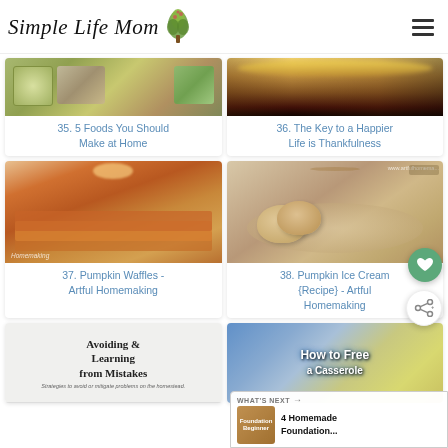Simple Life Mom
[Figure (photo): Food collage image for post 35]
35. 5 Foods You Should Make at Home
[Figure (photo): Landscape/sunset image for post 36]
36. The Key to a Happier Life is Thankfulness
[Figure (photo): Pumpkin waffles stacked with syrup for post 37]
37. Pumpkin Waffles - Artful Homemaking
[Figure (photo): Pumpkin ice cream scoops in bowl for post 38]
38. Pumpkin Ice Cream {Recipe} - Artful Homemaking
[Figure (photo): Text graphic: Avoiding & Learning from Mistakes]
[Figure (photo): How to Freeze a Casserole image]